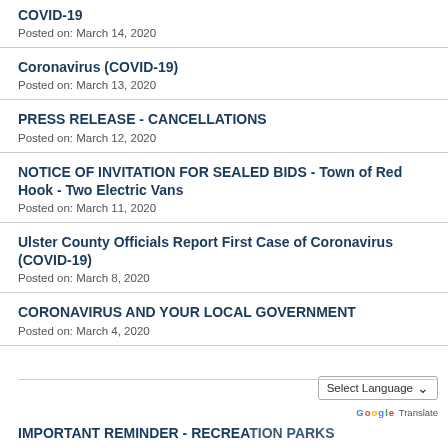COVID-19
Posted on: March 14, 2020
Coronavirus (COVID-19)
Posted on: March 13, 2020
PRESS RELEASE - CANCELLATIONS
Posted on: March 12, 2020
NOTICE OF INVITATION FOR SEALED BIDS - Town of Red Hook - Two Electric Vans
Posted on: March 11, 2020
Ulster County Officials Report First Case of Coronavirus (COVID-19)
Posted on: March 8, 2020
CORONAVIRUS AND YOUR LOCAL GOVERNMENT
Posted on: March 4, 2020
IMPORTANT REMINDER - RECREATION PARKS